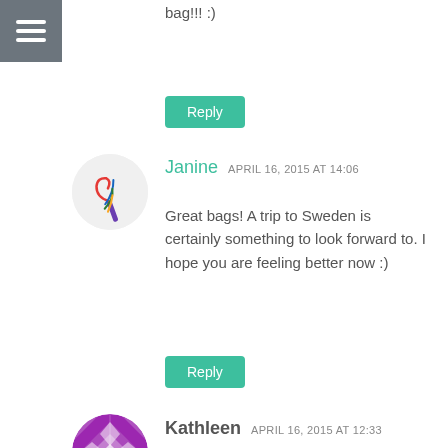[Figure (screenshot): Hamburger menu icon with three white bars on grey square background]
bag!!! :)
Reply
[Figure (illustration): Circular avatar with colorful rainbow-colored crochet hook illustration on light grey background]
Janine   APRIL 16, 2015 AT 14:06
Great bags! A trip to Sweden is certainly something to look forward to. I hope you are feeling better now :)
Reply
[Figure (illustration): Circular avatar with purple and white geometric quilt pattern]
Kathleen   APRIL 16, 2015 AT 12:33
I love this bag!!!! Soma, you are